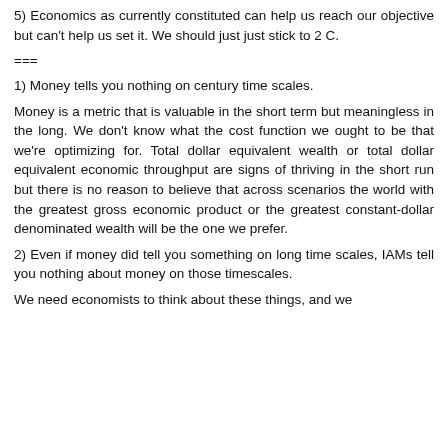5) Economics as currently constituted can help us reach our objective but can't help us set it. We should just just stick to 2 C.
===
1) Money tells you nothing on century time scales.
Money is a metric that is valuable in the short term but meaningless in the long. We don't know what the cost function we ought to be that we're optimizing for. Total dollar equivalent wealth or total dollar equivalent economic throughput are signs of thriving in the short run but there is no reason to believe that across scenarios the world with the greatest gross economic product or the greatest constant-dollar denominated wealth will be the one we prefer.
2) Even if money did tell you something on long time scales, IAMs tell you nothing about money on those timescales.
We need economists to think about these things, and we